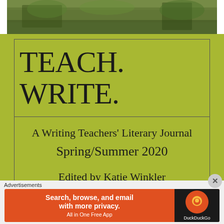[Figure (photo): Top banner photo of an outdoor scene with greenery, trees, and a building structure in the background.]
TEACH. WRITE.
A Writing Teachers' Literary Journal
Spring/Summer 2020

Edited by Katie Winkler
Are you a teacher writing this summer? I would love to read your
Advertisements
[Figure (infographic): DuckDuckGo advertisement banner: Search, browse, and email with more privacy. All in One Free App.]